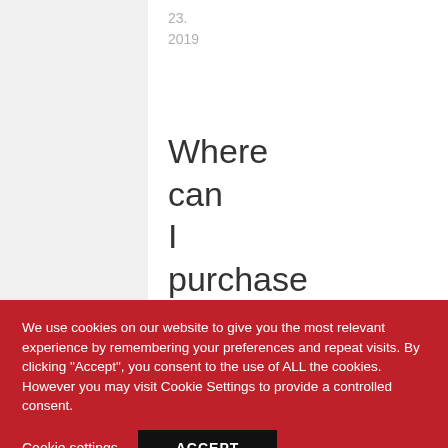23.
2019
Where can I purchase it
Arya M.
We use cookies on our website to give you the most relevant experience by remembering your preferences and repeat visits. By clicking "Accept", you consent to the use of ALL the cookies. However you may visit Cookie Settings to provide a controlled consent.
Cookie settings
ACCEPT